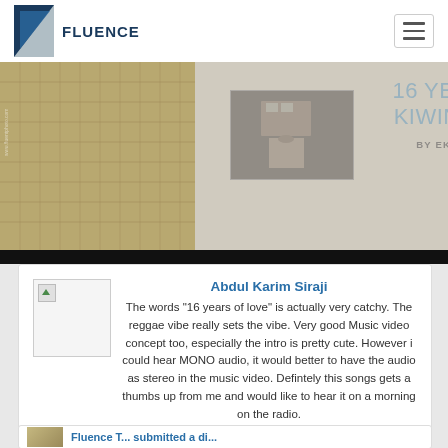FLUENCE
[Figure (screenshot): Hero banner for '16 Years By: Kiwini Vaitai by EKM Records' showing a woven texture background on the left, a video thumbnail in the center, and the title text on the right]
16 YEARS BY: KIWINI VAITAI
BY EKM RECORDS
Abdul Karim Siraji
The words "16 years of love" is actually very catchy. The reggae vibe really sets the vibe. Very good Music video concept too, especially the intro is pretty cute. However i could hear MONO audio, it would better to have the audio as stereo in the music video. Defintely this songs gets a thumbs up from me and would like to hear it on a morning on the radio.
Fluence T... submitted a di...